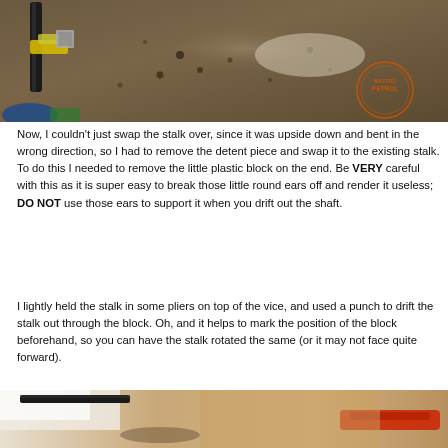[Figure (photo): Top-down view of a metal workbench surface with a stalk/lever component and wiring connector visible, along with holes in the surface. A circular 'Nostro Petrol' watermark logo is visible in the lower right of the photo.]
Now, I couldn't just swap the stalk over, since it was upside down and bent in the wrong direction, so I had to remove the detent piece and swap it to the existing stalk. To do this I needed to remove the little plastic block on the end. Be VERY careful with this as it is super easy to break those little round ears off and render it useless; DO NOT use those ears to support it when you drift out the shaft.
I lightly held the stalk in some pliers on top of the vice, and used a punch to drift the stalk out through the block. Oh, and it helps to mark the position of the block beforehand, so you can have the stalk rotated the same (or it may not face quite forward).
[Figure (photo): Partial view of the bottom photo showing tools and possibly pliers being used on a stalk component on a workbench.]